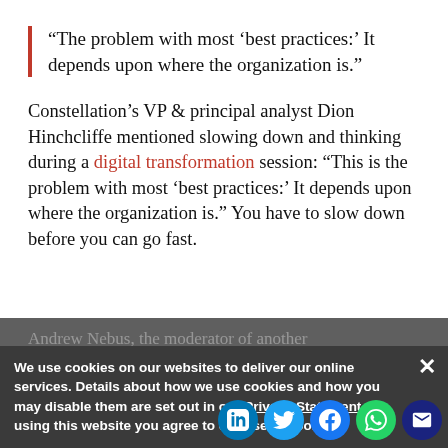“The problem with most ‘best practices:’ It depends upon where the organization is.”
Constellation’s VP & principal analyst Dion Hinchcliffe mentioned slowing down and thinking during a digital transformation session: “This is the problem with most ‘best practices:’ It depends upon where the organization is.” You have to slow down before you can go fast.
Andrew Nebus, the moderator of another
om AI and wellness exper
“We are living in th not pay attention.
We use cookies on our websites to deliver our online services. Details about how we use cookies and how you may disable them are set out in our Privacy Statement. By using this website you agree to our use of cookies.